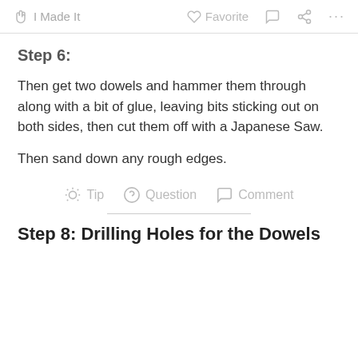I Made It  Favorite  Comment  Share  ...
Step 6:
Then get two dowels and hammer them through along with a bit of glue, leaving bits sticking out on both sides, then cut them off with a Japanese Saw.
Then sand down any rough edges.
Tip  Question  Comment
Step 8: Drilling Holes for the Dowels